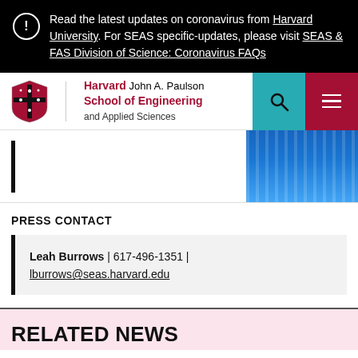Read the latest updates on coronavirus from Harvard University. For SEAS specific-updates, please visit SEAS & FAS Division of Science: Coronavirus FAQs
[Figure (logo): Harvard John A. Paulson School of Engineering and Applied Sciences logo with shield]
[Figure (photo): Person wearing blue striped shirt with backpack]
PRESS CONTACT
Leah Burrows | 617-496-1351 | lburrows@seas.harvard.edu
RELATED NEWS